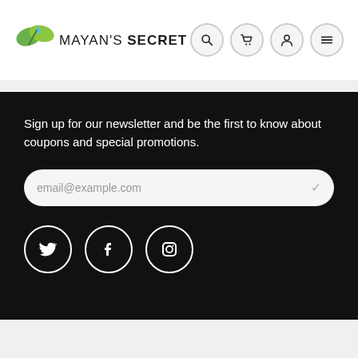[Figure (logo): Mayan's Secret logo with green leaf graphic above text reading MAYAN'S SECRET]
[Figure (infographic): Navigation icons: search (magnifying glass), cart (shopping cart), account (person), menu (hamburger) — each in a light circular border]
Sign up for our newsletter and be the first to know about coupons and special promotions.
[Figure (other): Email input field with placeholder text: email@example.com, rounded rectangle shape on dark background]
[Figure (infographic): Three social media icons in white circular borders: Twitter (bird), Facebook (f), Instagram (camera)]